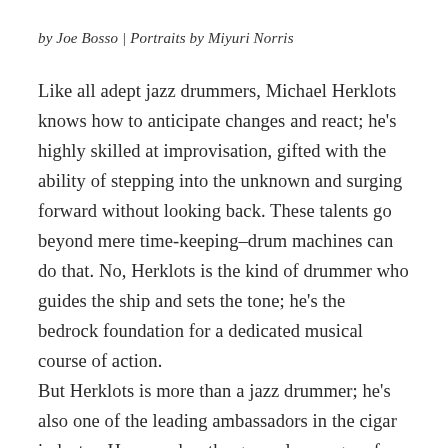by Joe Bosso | Portraits by Miyuri Norris
Like all adept jazz drummers, Michael Herklots knows how to anticipate changes and react; he's highly skilled at improvisation, gifted with the ability of stepping into the unknown and surging forward without looking back. These talents go beyond mere time-keeping–drum machines can do that. No, Herklots is the kind of drummer who guides the ship and sets the tone; he's the bedrock foundation for a dedicated musical course of action. But Herklots is more than a jazz drummer; he's also one of the leading ambassadors in the cigar industry. He served as the general manager of two Davidoff locations in New York City, and would go on